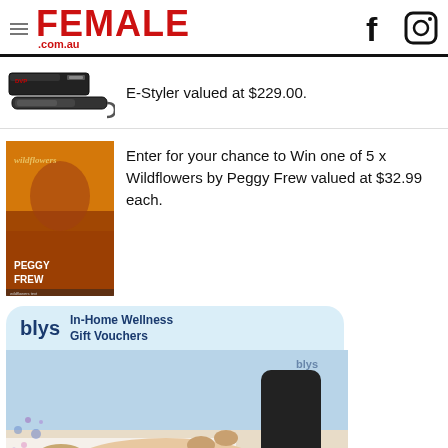FEMALE .com.au
E-Styler valued at $229.00.
Enter for your chance to Win one of 5 x Wildflowers by Peggy Frew valued at $32.99 each.
[Figure (photo): Blys In-Home Wellness Gift Vouchers advertisement showing a woman receiving a massage]